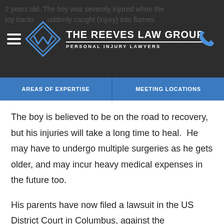2 years old. The boy was severely injured when the toy tractor suddenly caught fire into flames. THE REEVES LAW GROUP PERSONAL INJURY LAWYERS
AREAS OF EXPERTISE | MEETING LOCATIONS
The boy is believed to be on the road to recovery, but his injuries will take a long time to heal. He may have to undergo multiple surgeries as he gets older, and may incur heavy medical expenses in the future too.
His parents have now filed a lawsuit in the US District Court in Columbus, against the manufacturer of the toy tractor, Peg Perego Inc. According to the lawsuit, the fire was caused due to a defect in the toy that caused the tractor to explode into flames.